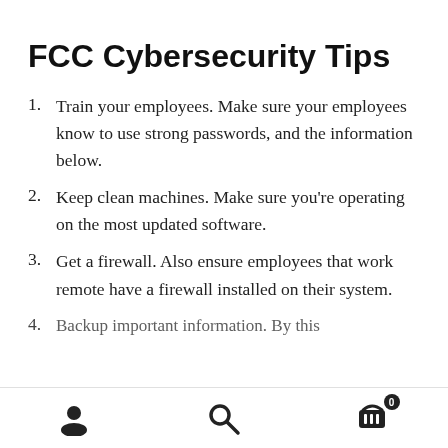FCC Cybersecurity Tips
Train your employees. Make sure your employees know to use strong passwords, and the information below.
Keep clean machines. Make sure you're operating on the most updated software.
Get a firewall. Also ensure employees that work remote have a firewall installed on their system.
Backup important information. By this
User icon, Search icon, Cart icon with badge 0